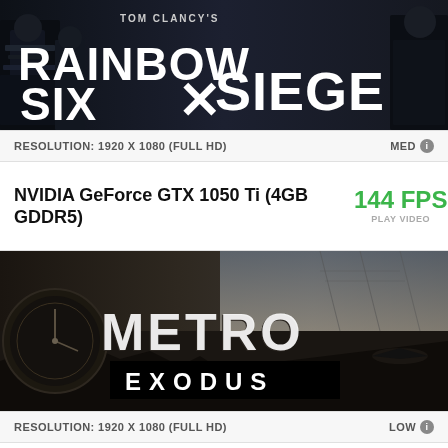[Figure (screenshot): Tom Clancy's Rainbow Six Siege game banner with dark tactical soldiers background and white bold game title text]
RESOLUTION: 1920 X 1080 (FULL HD)   MED
NVIDIA GeForce GTX 1050 Ti (4GB GDDR5)   144 FPS   PLAY VIDEO   PL...
[Figure (screenshot): Metro Exodus game banner with post-apocalyptic landscape, clock, aircraft, and white styled Metro Exodus logo text]
RESOLUTION: 1920 X 1080 (FULL HD)   LOW
NVIDIA GeForce GTX 1050 Ti (4GB GDDR5)   55 FPS   PLAY VIDEO   PL...